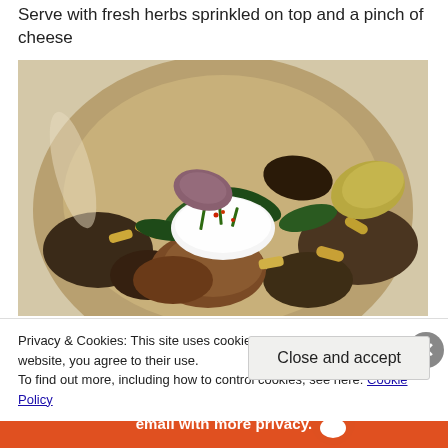Serve with fresh herbs sprinkled on top and a pinch of cheese
[Figure (photo): A bowl of pasta dish with mushrooms, sausage, greens, and a dollop of white cheese on top, served in a white bowl]
Privacy & Cookies: This site uses cookies. By continuing to use this website, you agree to their use.
To find out more, including how to control cookies, see here: Cookie Policy
Close and accept
email with more privacy.